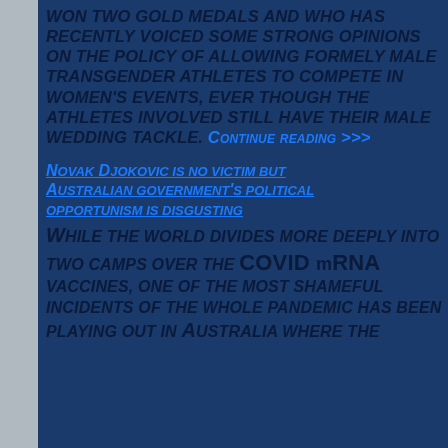WON TWO GOLD MEDALS AND WHO HAS RECENTLY VOICED SOME STRONG OPINIONS ON THE POLICY OF ALLOWING FORMELY MALE TRANSGENDER ATHLETES TO COMPETE IN WOMEN'S EVENTS, EVER THOUGH THE ATHLETES INVOLVED STILL HAVE THEIR MALE WEDDING TACKLE. CONTINUE READING >>>
NOVAK DJOKOVIC IS NO VICTIM BUT AUSTRALIAN GOVERNMENT'S POLITICAL OPPORTUNISM IS DISGUSTING
WHILE THE WORLD DIVIDES MORE DEEPLY INTO TWO CAMPS OVER THE COVID mRNA VACCINES, ONE OF THE MOST SHAMEFUL INCIDENTS OF THE WHOLE PANDEMIC HAS BEEN PLAYING OUT IN AUSTRALIA WHERE THE